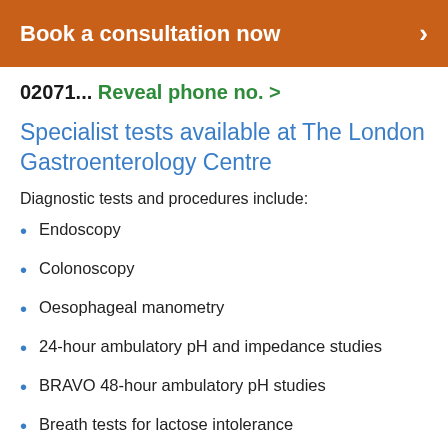Book a consultation now
02071... Reveal phone no. >
Specialist tests available at The London Gastroenterology Centre
Diagnostic tests and procedures include:
Endoscopy
Colonoscopy
Oesophageal manometry
24-hour ambulatory pH and impedance studies
BRAVO 48-hour ambulatory pH studies
Breath tests for lactose intolerance
Breath tests for small intestinal bacterial overgrowth